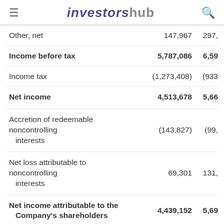investorshub
|  | Col1 | Col2 |
| --- | --- | --- |
| Other, net | 147,967 | 297, |
| Income before tax | 5,787,086 | 6,59 |
| Income tax | (1,273,408) | (933 |
| Net income | 4,513,678 | 5,66 |
| Accretion of redeemable noncontrolling interests | (143,827) | (99, |
| Net loss attributable to noncontrolling interests | 69,301 | 131, |
| Net income attributable to the Company's shareholders | 4,439,152 | 5,69 |